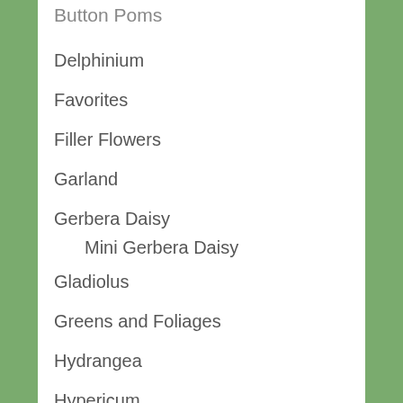Delphinium
Favorites
Filler Flowers
Garland
Gerbera Daisy
Mini Gerbera Daisy
Gladiolus
Greens and Foliages
Hydrangea
Hypericum
Iris
Lilies
Asiatic Lily
Oriental Lily
Miscellaneous Flowers